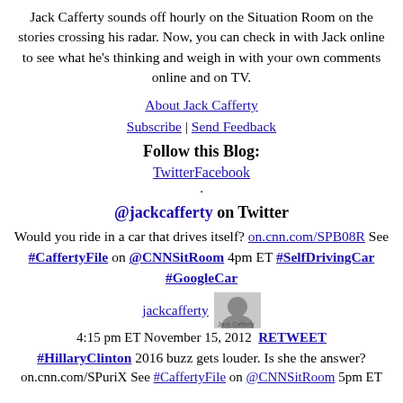Jack Cafferty sounds off hourly on the Situation Room on the stories crossing his radar. Now, you can check in with Jack online to see what he's thinking and weigh in with your own comments online and on TV.
About Jack Cafferty
Subscribe | Send Feedback
Follow this Blog:
TwitterFacebook
.
@jackcafferty on Twitter
Would you ride in a car that drives itself? on.cnn.com/SPB08R See #CaffertyFile on @CNNSitRoom 4pm ET #SelfDrivingCar #GoogleCar
jackcafferty
4:15 pm ET November 15, 2012 RETWEET
#HillaryClinton 2016 buzz gets louder. Is she the answer?
on.cnn.com/SPuriX See #CaffertyFile on @CNNSitRoom 5pm ET